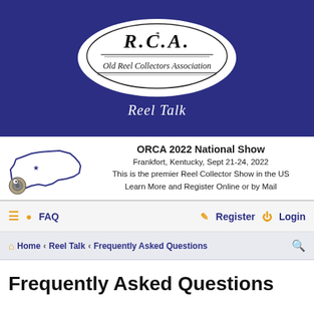[Figure (logo): ORCA Old Reel Collectors Association oval logo with decorative script lettering and fishing reel illustration]
Reel Talk
[Figure (illustration): Small cartoon reel collector figure next to outline map of Kentucky with star marking Frankfort]
ORCA 2022 National Show
Frankfort, Kentucky, Sept 21-24, 2022
This is the premier Reel Collector Show in the US
Learn More and Register Online or by Mail
≡ FAQ    Register   Login
Home › Reel Talk › Frequently Asked Questions
Frequently Asked Questions